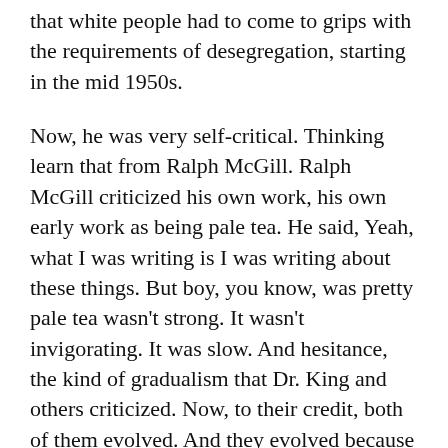that white people had to come to grips with the requirements of desegregation, starting in the mid 1950s.
Now, he was very self-critical. Thinking learn that from Ralph McGill. Ralph McGill criticized his own work, his own early work as being pale tea. He said, Yeah, what I was writing is I was writing about these things. But boy, you know, was pretty pale tea wasn't strong. It wasn't invigorating. It was slow. And hesitance, the kind of gradualism that Dr. King and others criticized. Now, to their credit, both of them evolved. And they evolved because they were upset and worried and inspired by the young, black activists who they categorize as the real heroes of the people who are putting their bodies on the line. Yeah, it's really, really interesting to see genes. Evolution, through the encouragement of drought, we'll develop a much